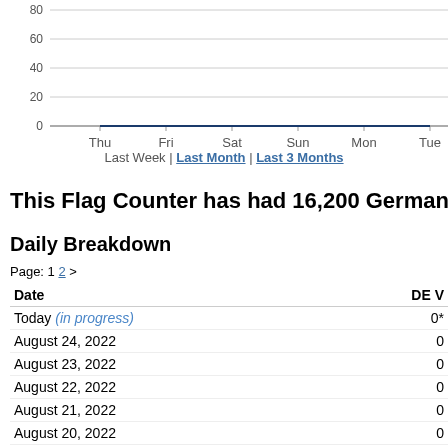[Figure (line-chart): Germany visitors last week]
Last Week | Last Month | Last 3 Months
This Flag Counter has had 16,200 Germany visitors
Daily Breakdown
Page: 1 2 >
| Date | DE V |
| --- | --- |
| Today (in progress) | 0* |
| August 24, 2022 | 0 |
| August 23, 2022 | 0 |
| August 22, 2022 | 0 |
| August 21, 2022 | 0 |
| August 20, 2022 | 0 |
| August 19, 2022 | 0 |
| August 18, 2022 | 0 |
| August 17, 2022 | 0 |